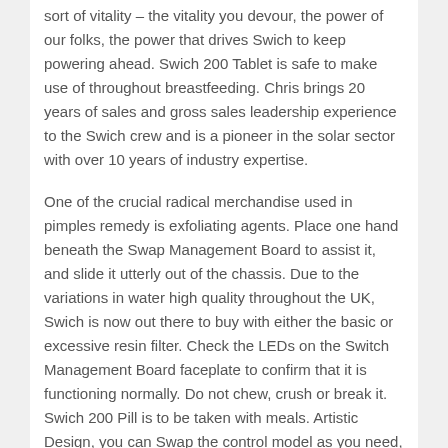sort of vitality – the vitality you devour, the power of our folks, the power that drives Swich to keep powering ahead. Swich 200 Tablet is safe to make use of throughout breastfeeding. Chris brings 20 years of sales and gross sales leadership experience to the Swich crew and is a pioneer in the solar sector with over 10 years of industry expertise.
One of the crucial radical merchandise used in pimples remedy is exfoliating agents. Place one hand beneath the Swap Management Board to assist it, and slide it utterly out of the chassis. Due to the variations in water high quality throughout the UK, Swich is now out there to buy with either the basic or excessive resin filter. Check the LEDs on the Switch Management Board faceplate to confirm that it is functioning normally. Do not chew, crush or break it. Swich 200 Pill is to be taken with meals. Artistic Design, you can Swap the control model as you need, just